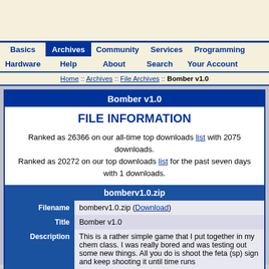Basics | Archives | Community | Services | Programming | Hardware | Help | About | Search | Your Account
Home :: Archives :: File Archives :: Bomber v1.0
Bomber v1.0
FILE INFORMATION
Ranked as 26366 on our all-time top downloads list with 2075 downloads.
Ranked as 20272 on our top downloads list for the past seven days with 1 downloads.
bomberv1.0.zip
|  |  |
| --- | --- |
| Filename | bomberv1.0.zip (Download) |
| Title | Bomber v1.0 |
| Description | This is a rather simple game that I put together in my chem class. I was really bored and was testing out some new things. All you do is shoot the feta (sp) sign and keep shooting it until time runs |